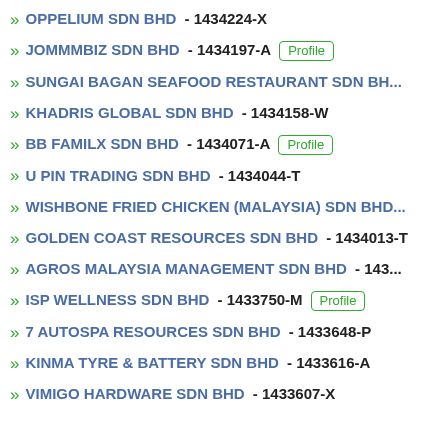OPPELIUM SDN BHD - 1434224-X
JOMMMBIZ SDN BHD - 1434197-A [Profile]
SUNGAI BAGAN SEAFOOD RESTAURANT SDN BH...
KHADRIS GLOBAL SDN BHD - 1434158-W
BB FAMILX SDN BHD - 1434071-A [Profile]
U PIN TRADING SDN BHD - 1434044-T
WISHBONE FRIED CHICKEN (MALAYSIA) SDN BHD...
GOLDEN COAST RESOURCES SDN BHD - 1434013-T
AGROS MALAYSIA MANAGEMENT SDN BHD - 143...
ISP WELLNESS SDN BHD - 1433750-M [Profile]
7 AUTOSPA RESOURCES SDN BHD - 1433648-P
KINMA TYRE & BATTERY SDN BHD - 1433616-A
VIMIGO HARDWARE SDN BHD - 1433607-X